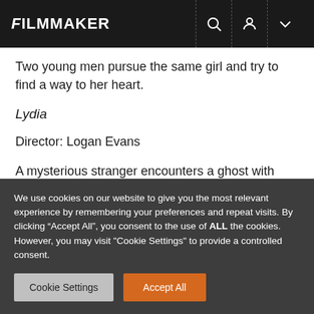FILMMAKER
Two young men pursue the same girl and try to find a way to her heart.
Lydia
Director: Logan Evans
A mysterious stranger encounters a ghost with which he has unresolved ties.
We use cookies on our website to give you the most relevant experience by remembering your preferences and repeat visits. By clicking “Accept All”, you consent to the use of ALL the cookies. However, you may visit "Cookie Settings" to provide a controlled consent.